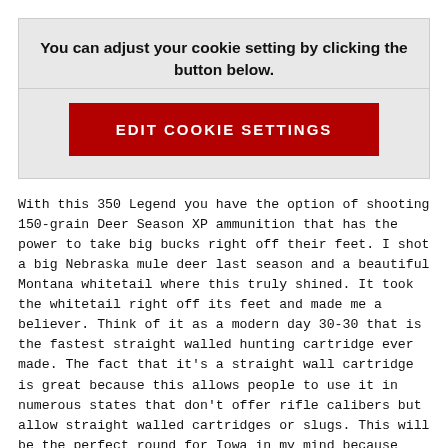You can adjust your cookie setting by clicking the button below.
[Figure (other): Red button labeled EDIT COOKIE SETTINGS]
With this 350 Legend you have the option of shooting 150-grain Deer Season XP ammunition that has the power to take big bucks right off their feet.  I shot a big Nebraska mule deer last season and a beautiful Montana whitetail where this truly shined.  It took the whitetail right off its feet and made me a believer.  Think of it as a modern day 30-30 that is the fastest straight walled hunting cartridge ever made.  The fact that it's a straight wall cartridge is great because this allows people to use it in numerous states that don't offer rifle calibers but allow straight walled cartridges or slugs.  This will be the perfect round for Iowa in my mind because most of the shots are inside that 200 to 250 yard range and the accuracy one gets with this caliber is truly unbelievable.